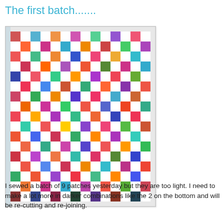The first batch.......
[Figure (photo): A colorful patchwork quilt laid flat, composed of many small diamond/square patches in a variety of bright and multicolored fabrics arranged in a diagonal pattern. The quilt shows many different fabric prints in colors including orange, pink, red, blue, green, purple, and white.]
I sewed a batch of 9 patches yesterday but they are too light. I need to make a lot more in darker combinations like the 2 on the bottom and will be re-cutting and re-joining.